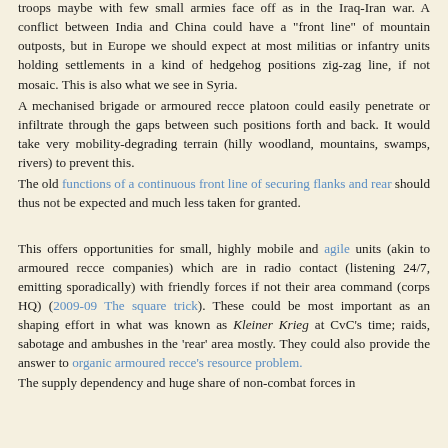troops maybe with few small armies face off as in the Iraq-Iran war. A conflict between India and China could have a "front line" of mountain outposts, but in Europe we should expect at most militias or infantry units holding settlements in a kind of hedgehog positions zig-zag line, if not mosaic. This is also what we see in Syria.
A mechanised brigade or armoured recce platoon could easily penetrate or infiltrate through the gaps between such positions forth and back. It would take very mobility-degrading terrain (hilly woodland, mountains, swamps, rivers) to prevent this.
The old functions of a continuous front line of securing flanks and rear should thus not be expected and much less taken for granted.
This offers opportunities for small, highly mobile and agile units (akin to armoured recce companies) which are in radio contact (listening 24/7, emitting sporadically) with friendly forces if not their area command (corps HQ) (2009-09 The square trick). These could be most important as an shaping effort in what was known as Kleiner Krieg at CvC's time; raids, sabotage and ambushes in the 'rear' area mostly. They could also provide the answer to organic armoured recce's resource problem.
The supply dependency and huge share of non-combat forces in